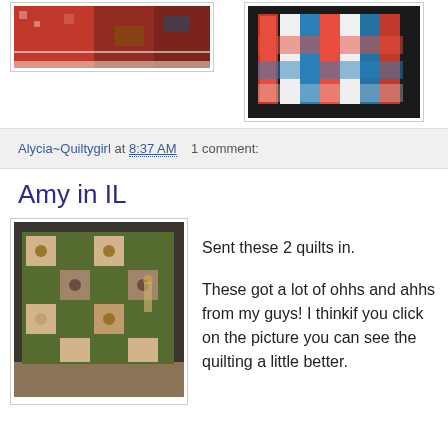[Figure (photo): Partial view of a red quilt photo on left side]
[Figure (photo): Red, white, and blue striped quilt displayed on right side]
Alycia~Quiltygirl at 8:37 AM   1 comment:
Amy in IL
[Figure (photo): Green and beige floral quilt with square blocks displayed indoors]
Sent these 2 quilts in.
These got a lot of ohhs and ahhs from my guys! I thinkif you click on the picture you can see the quilting a little better.